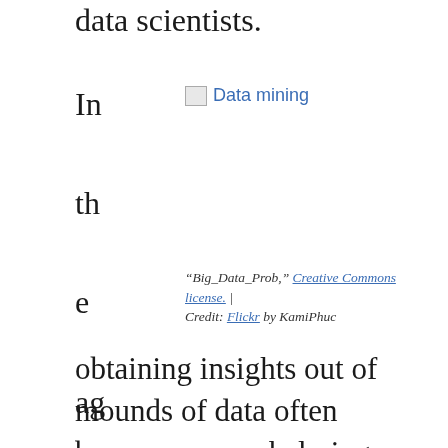data scientists.
[Figure (photo): Data mining image placeholder with alt text 'Data mining']
“Big_Data_Prob,” Creative Commons license. | Credit: Flickr by KamiPhuc
In the age of abundant data, obtaining insights out of mounds of data often becomes overwhelming even for seasoned data scientists.